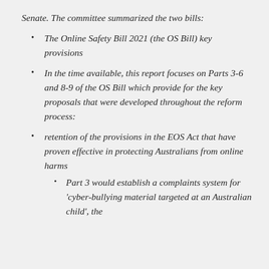Senate. The committee summarized the two bills:
The Online Safety Bill 2021 (the OS Bill) key provisions
In the time available, this report focuses on Parts 3-6 and 8-9 of the OS Bill which provide for the key proposals that were developed throughout the reform process:
retention of the provisions in the EOS Act that have proven effective in protecting Australians from online harms
Part 3 would establish a complaints system for 'cyber-bullying material targeted at an Australian child', the